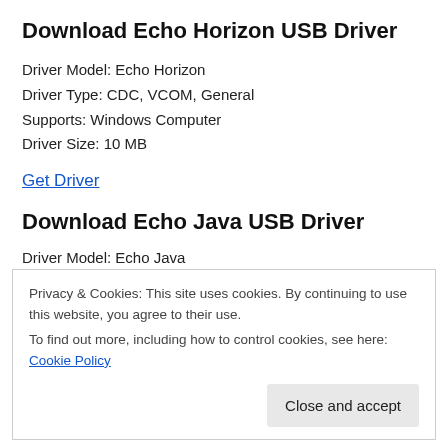Download Echo Horizon USB Driver
Driver Model: Echo Horizon
Driver Type: CDC, VCOM, General
Supports: Windows Computer
Driver Size: 10 MB
Get Driver
Download Echo Java USB Driver
Driver Model: Echo Java
Privacy & Cookies: This site uses cookies. By continuing to use this website, you agree to their use.
To find out more, including how to control cookies, see here: Cookie Policy
Close and accept